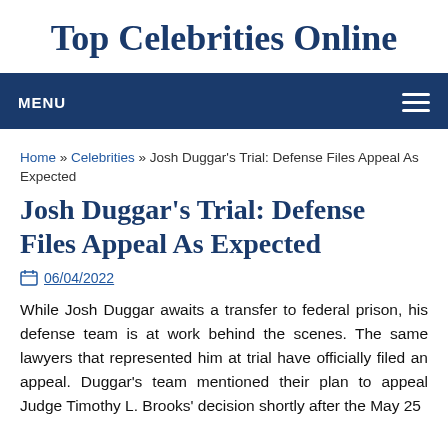Top Celebrities Online
MENU
Home » Celebrities » Josh Duggar's Trial: Defense Files Appeal As Expected
Josh Duggar's Trial: Defense Files Appeal As Expected
06/04/2022
While Josh Duggar awaits a transfer to federal prison, his defense team is at work behind the scenes. The same lawyers that represented him at trial have officially filed an appeal. Duggar's team mentioned their plan to appeal Judge Timothy L. Brooks' decision shortly after the May 25 sentencing hearing. So why should the base of far-left...